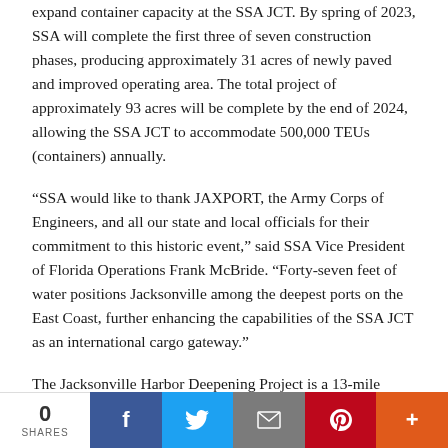expand container capacity at the SSA JCT. By spring of 2023, SSA will complete the first three of seven construction phases, producing approximately 31 acres of newly paved and improved operating area. The total project of approximately 93 acres will be complete by the end of 2024, allowing the SSA JCT to accommodate 500,000 TEUs (containers) annually.
“SSA would like to thank JAXPORT, the Army Corps of Engineers, and all our state and local officials for their commitment to this historic event,” said SSA Vice President of Florida Operations Frank McBride. “Forty-seven feet of water positions Jacksonville among the deepest ports on the East Coast, further enhancing the capabilities of the SSA JCT as an international cargo gateway.”
The Jacksonville Harbor Deepening Project is a 13-mile federally authorized project. The current funding model covered the completion of the first 11 miles. The final two miles are authorized and under review.
JAXPORT is Florida’s largest container port and one of the nation’s top vehicle handling ports. Jacksonville offers two-way ship traffic, no berth...